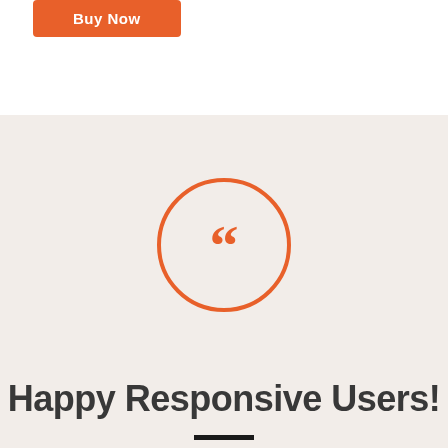[Figure (illustration): Orange 'Buy Now' button with rounded corners on white background]
[Figure (illustration): Orange circle outline containing double left quotation mark icon, on beige/cream background]
Happy Responsive Users!